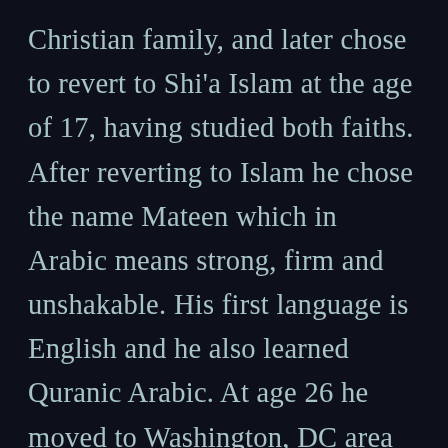Christian family, and later chose to revert to Shi'a Islam at the age of 17, having studied both faiths. After reverting to Islam he chose the name Mateen which in Arabic means strong, firm and unshakable. His first language is English and he also learned Quranic Arabic. At age 26 he moved to Washington, DC area and has been an active part of the Muslim community. He took part in a documentary by Al-Anwar Hussain TV entitled Journey of the Spirit